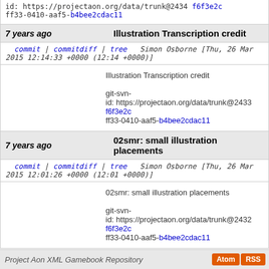id: https://projectaon.org/data/trunk@2434 f6f3e2c... ff33-0410-aaf5-b4bee2cdac11
7 years ago   Illustration Transcription credit
commit | commitdiff | tree   Simon Osborne [Thu, 26 Mar 2015 12:14:33 +0000 (12:14 +0000)]
Illustration Transcription credit

git-svn-id: https://projectaon.org/data/trunk@2433 f6f3e2c... ff33-0410-aaf5-b4bee2cdac11
7 years ago   02smr: small illustration placements
commit | commitdiff | tree   Simon Osborne [Thu, 26 Mar 2015 12:01:26 +0000 (12:01 +0000)]
02smr: small illustration placements

git-svn-id: https://projectaon.org/data/trunk@2432 f6f3e2c... ff33-0410-aaf5-b4bee2cdac11
next
Project Aon XML Gamebook Repository